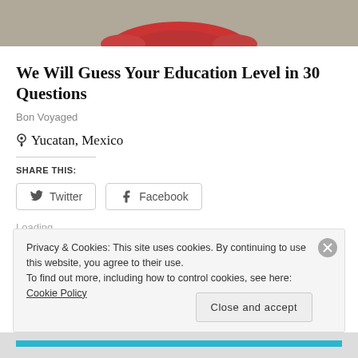[Figure (photo): Top portion of a person wearing a red top, photo cropped at shoulders, outdoors background]
We Will Guess Your Education Level in 30 Questions
Bon Voyaged
Yucatan, Mexico
SHARE THIS:
Twitter
Facebook
Loading...
Privacy & Cookies: This site uses cookies. By continuing to use this website, you agree to their use. To find out more, including how to control cookies, see here: Cookie Policy
Close and accept